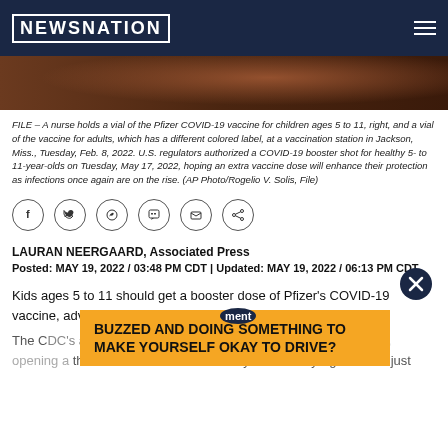[NEWSNATION]
[Figure (photo): Partial photo strip showing blurred image of nurse holding vaccine vials, dark reddish-brown tones]
FILE – A nurse holds a vial of the Pfizer COVID-19 vaccine for children ages 5 to 11, right, and a vial of the vaccine for adults, which has a different colored label, at a vaccination station in Jackson, Miss., Tuesday, Feb. 8, 2022. U.S. regulators authorized a COVID-19 booster shot for healthy 5- to 11-year-olds on Tuesday, May 17, 2022, hoping an extra vaccine dose will enhance their protection as infections once again are on the rise. (AP Photo/Rogelio V. Solis, File)
[Figure (other): Social sharing icons: Facebook, Twitter, WhatsApp, Comments, Email, Share]
LAURAN NEERGAARD, Associated Press
Posted: MAY 19, 2022 / 03:48 PM CDT | Updated: MAY 19, 2022 / 06:13 PM CDT
Kids ages 5 to 11 should get a booster dose of Pfizer's COVID-19 vaccine, advisers to the U.S. government said Thursday.
The CDC's advisers quickly adopted the panel's recommendation, opening a third COVID-19 shot to healthy elementary-age kids — just
[Figure (other): Close button (X) overlay circle in dark navy blue]
[Figure (other): Advertisement banner: BUZZED AND DOING SOMETHING TO MAKE YOURSELF OKAY TO DRIVE?]